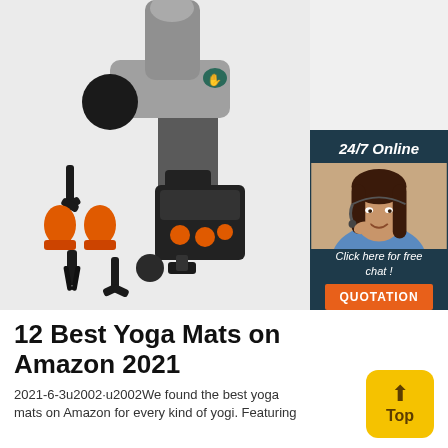[Figure (photo): Product photo of a massage gun with multiple attachments and case, displayed on light gray background. An overlay in dark teal shows '24/7 Online' with a customer service agent photo, 'Click here for free chat!' text, and an orange QUOTATION button.]
12 Best Yoga Mats on Amazon 2021
2021-6-3u2002·u2002We found the best yoga mats on Amazon for every kind of yogi. Featuring